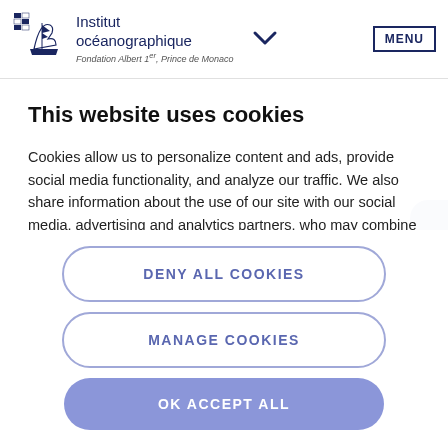[Figure (logo): Institut océanographique logo with ship illustration, text 'Institut océanographique Fondation Albert Ier, Prince de Monaco']
MENU
This website uses cookies
Cookies allow us to personalize content and ads, provide social media functionality, and analyze our traffic. We also share information about the use of our site with our social media, advertising and analytics partners, who may combine this with other
DENY ALL COOKIES
MANAGE COOKIES
OK ACCEPT ALL